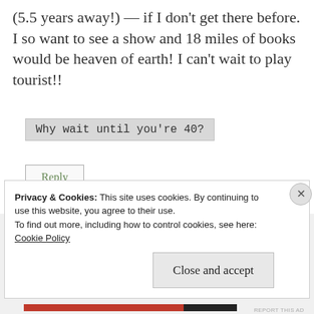(5.5 years away!) — if I don't get there before. I so want to see a show and 18 miles of books would be heaven of earth! I can't wait to play tourist!!
Why wait until you're 40?
Reply
REPORT THIS AD
Privacy & Cookies: This site uses cookies. By continuing to use this website, you agree to their use.
To find out more, including how to control cookies, see here:
Cookie Policy
Close and accept